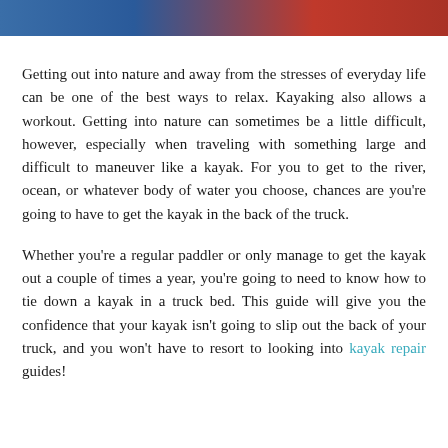[Figure (photo): Partial view of vehicles (blue and red cars) at the top of the page]
Getting out into nature and away from the stresses of everyday life can be one of the best ways to relax. Kayaking also allows a workout. Getting into nature can sometimes be a little difficult, however, especially when traveling with something large and difficult to maneuver like a kayak. For you to get to the river, ocean, or whatever body of water you choose, chances are you're going to have to get the kayak in the back of the truck.
Whether you're a regular paddler or only manage to get the kayak out a couple of times a year, you're going to need to know how to tie down a kayak in a truck bed. This guide will give you the confidence that your kayak isn't going to slip out the back of your truck, and you won't have to resort to looking into kayak repair guides!